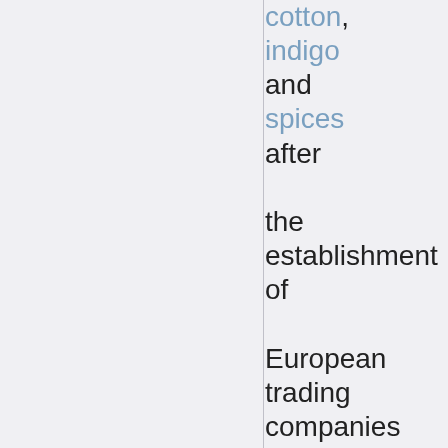cotton, indigo and spices after the establishment of European trading companies designed for the specific purpose: